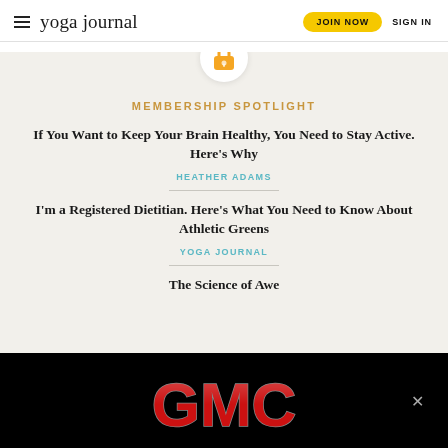yoga journal | JOIN NOW | SIGN IN
[Figure (illustration): Orange padlock emoji icon inside a white circle]
MEMBERSHIP SPOTLIGHT
If You Want to Keep Your Brain Healthy, You Need to Stay Active. Here's Why
HEATHER ADAMS
I'm a Registered Dietitian. Here's What You Need to Know About Athletic Greens
YOGA JOURNAL
The Science of Awe
[Figure (logo): GMC advertisement banner with red GMC logo on black background]